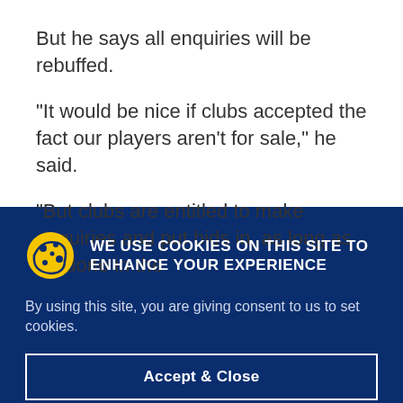But he says all enquiries will be rebuffed.
“It would be nice if clubs accepted the fact our players aren’t for sale,” he said.
“But clubs are entitled to make enquiries and put bids in, as long as it’s done in the
WE USE COOKIES ON THIS SITE TO ENHANCE YOUR EXPERIENCE
By using this site, you are giving consent to us to set cookies.
Accept & Close